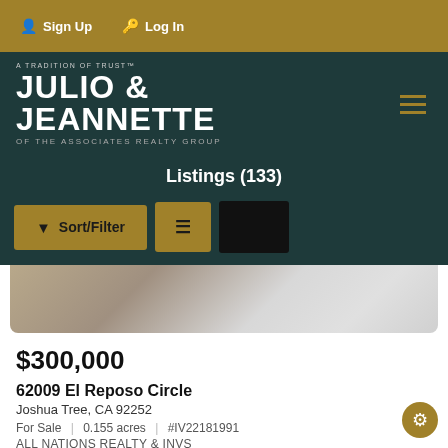Sign Up | Log In
JULIO & JEANNETTE
A TRADITION OF TRUST
OF THE ASSOCIATES REALTY GROUP
Listings (133)
Sort/Filter
[Figure (photo): Exterior photo of property showing concrete surface and white siding]
$300,000
62009 El Reposo Circle
Joshua Tree, CA 92252
For Sale | 0.155 acres | #IV22181991
ALL NATIONS REALTY & INVS
Price Reduced by 25%